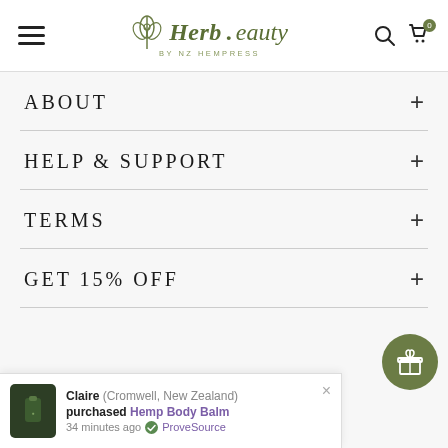[Figure (logo): Herb.beauty by NZ Hempress logo with leaf/seed icon]
ABOUT
HELP & SUPPORT
TERMS
GET 15% OFF
[Figure (other): Facebook and Instagram social media icons]
Claire (Cromwell, New Zealand) purchased Hemp Body Balm 34 minutes ago ProveSource